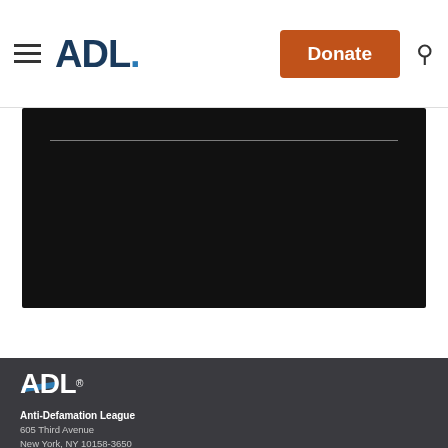ADL. | Donate | [search icon]
[Figure (other): Dark/black video player area with a thin horizontal white line near the top]
[Figure (logo): ADL logo (white letters with blue diagonal bar accent and registered trademark symbol) on dark gray footer background]
Anti-Defamation League
605 Third Avenue
New York, NY 10158-3650